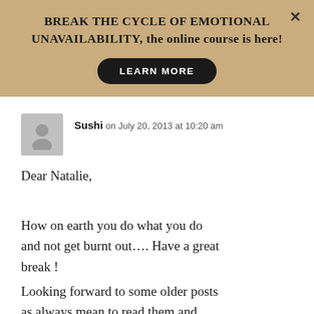[Figure (infographic): Banner advertisement with tan/gold background. Text reads 'BREAK THE CYCLE OF EMOTIONAL UNAVAILABILITY, the online course is here!' with a black 'LEARN MORE' button and an X close button in the top right.]
Sushi on July 20, 2013 at 10:20 am

Dear Natalie,

How on earth you do what you do and not get burnt out.... Have a great break !
Looking forward to some older posts as always mean to read them and